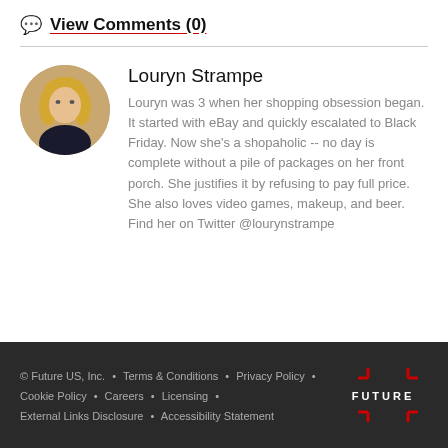View Comments (0)
[Figure (photo): Circular profile photo of Louryn Strampe, a woman with blonde hair]
Louryn Strampe
Louryn was 3 when her shopping obsession began. It started with eBay and quickly escalated to Black Friday. Now she's a shopaholic -- no day is complete without a pile of packages on her front porch. She justifies it by refusing to pay full price. She also loves video games, makeup, and beer. Find her on Twitter @lourynstrampe
© Future US, Inc. • Terms & Conditions • Privacy Policy • Cookie Policy • Careers • Licensing • External Links Disclosure • Accessibility Statement